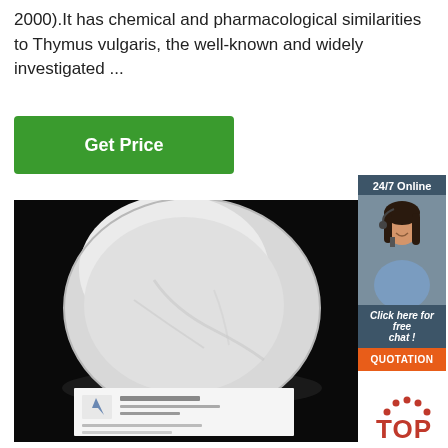2000).It has chemical and pharmacological similarities to Thymus vulgaris, the well-known and widely investigated ...
Get Price
[Figure (photo): Product photo showing white powder in a glass petri dish on black background, with a company label card in the foreground showing Chinese text and company name Inner Mongolia Xinlifeng Biotech Company Limited]
[Figure (photo): Customer service agent photo with headset, smiling woman]
24/7 Online
Click here for free chat !
QUOTATION
[Figure (logo): TOP logo with orange arch and letters]